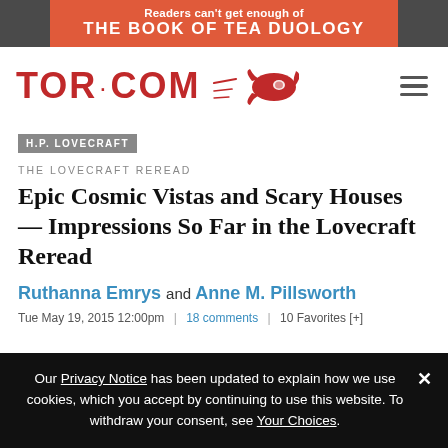[Figure (infographic): Tor.com promotional banner: orange/red background with white text reading 'Readers can't get enough of THE BOOK OF TEA DUOLOGY' on dark grey outer bar]
[Figure (logo): TOR.COM logo in red with rocket ship icon to the right, hamburger menu icon on far right]
H.P. LOVECRAFT
THE LOVECRAFT REREAD
Epic Cosmic Vistas and Scary Houses — Impressions So Far in the Lovecraft Reread
Ruthanna Emrys and Anne M. Pillsworth
Tue May 19, 2015 12:00pm | 18 comments | 10 Favorites [+]
Our Privacy Notice has been updated to explain how we use cookies, which you accept by continuing to use this website. To withdraw your consent, see Your Choices.